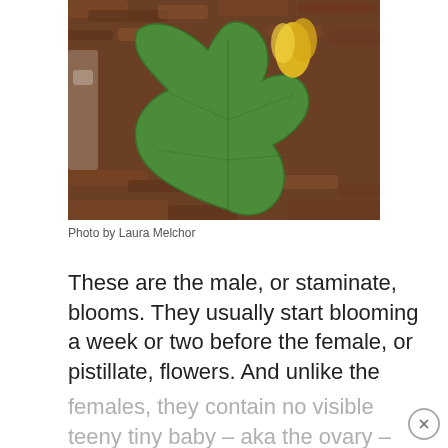[Figure (photo): A green squash or pumpkin leaf with a yellow flower bud visible at the top right, growing on a background of brown wood chip mulch. Photographed from above.]
Photo by Laura Melchor
These are the male, or staminate, blooms. They usually start blooming a week or two before the female, or pistillate, flowers. And unlike the females, they contain no visible teeny tiny baby – aka the ovary – at the